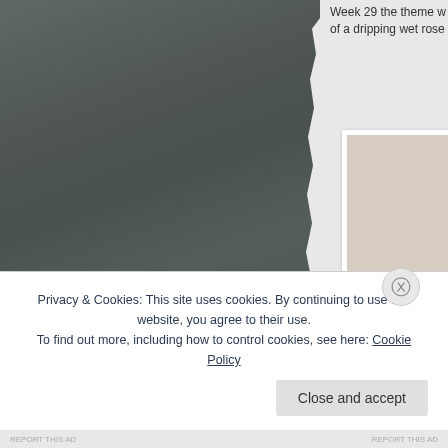[Figure (photo): Large dark grey/charcoal painted board or surface, left portion of page, with rough torn edge on the right side]
Week 29 the theme w... of a dripping wet rose
[Figure (photo): Partial view of a second photo on the right side showing a light beige/tan colored image, in a white frame]
Privacy & Cookies: This site uses cookies. By continuing to use this website, you agree to their use.
To find out more, including how to control cookies, see here: Cookie Policy
Close and accept